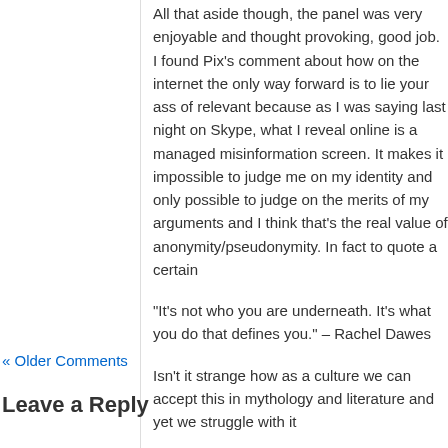All that aside though, the panel was very enjoyable and thought provoking, good job. I found Pix's comment about how on the internet the only way forward is to lie your ass of relevant because as I was saying last night on Skype, what I reveal online is a managed misinformation screen. It makes it impossible to judge me on my identity and only possible to judge on the merits of my arguments and I think that's the real value of anonymity/pseudonymity. In fact to quote a certain
“It’s not who you are underneath. It’s what you do that defines you.” – Rachel Dawes
Isn’t it strange how as a culture we can accept this in mythology and literature and yet we struggle with it
And to forestall your next question, I cheerfully accept an invitation to appear on next year’s panel 😃
« Older Comments
Leave a Reply